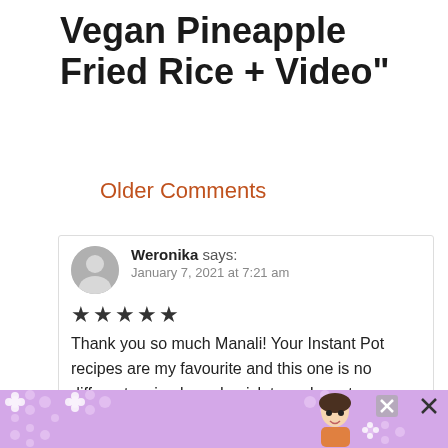Vegan Pineapple Fried Rice + Video"
Older Comments
Weronika says:
January 7, 2021 at 7:21 am
★★★★★
Thank you so much Manali! Your Instant Pot recipes are my favourite and this one is no different – simple and quick to make yet super delicious. I added some sweet corn and a five spices mix, it was so good and I'll definitely
[Figure (infographic): Stop Asian Hate advertisement banner with purple/lavender background, flower pattern, orange bold text 'STOP ASIAN HATE' and anime-style character illustration, with close buttons]